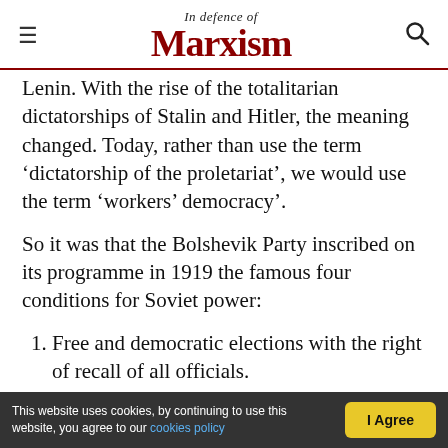In Defence of Marxism
Lenin. With the rise of the totalitarian dictatorships of Stalin and Hitler, the meaning changed. Today, rather than use the term ‘dictatorship of the proletariat’, we would use the term ‘workers’ democracy’.
So it was that the Bolshevik Party inscribed on its programme in 1919 the famous four conditions for Soviet power:
Free and democratic elections with the right of recall of all officials.
No official to receive a higher salary than that
This website uses cookies, by continuing to use this website, you agree to our cookies policy | I Agree